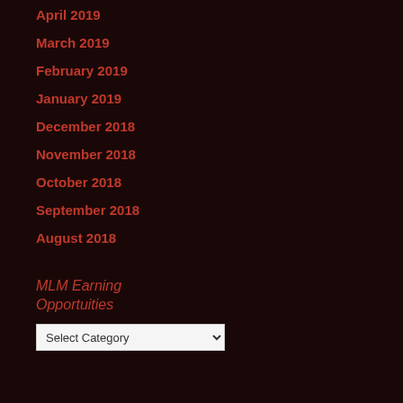April 2019
March 2019
February 2019
January 2019
December 2018
November 2018
October 2018
September 2018
August 2018
MLM Earning Opportuities
Select Category